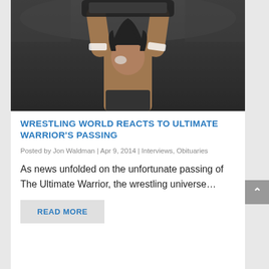[Figure (photo): Black and white photo of The Ultimate Warrior wrestling performer with arms raised holding championship belt above head, wearing face paint]
WRESTLING WORLD REACTS TO ULTIMATE WARRIOR'S PASSING
Posted by Jon Waldman | Apr 9, 2014 | Interviews, Obituaries
As news unfolded on the unfortunate passing of The Ultimate Warrior, the wrestling universe…
READ MORE